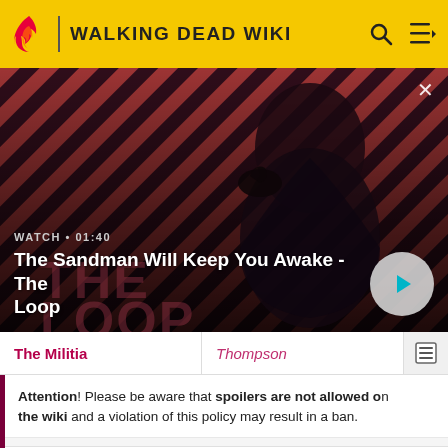WALKING DEAD WIKI
[Figure (screenshot): Video banner showing a dark-cloaked figure with a raven on their shoulder against a red and dark diagonal striped background. Text overlay reads WATCH • 01:40 and The Sandman Will Keep You Awake - The Loop. A play button circle is on the right.]
The Militia | Thompson
Attention! Please be aware that spoilers are not allowed on the wiki and a violation of this policy may result in a ban.
READ MORE